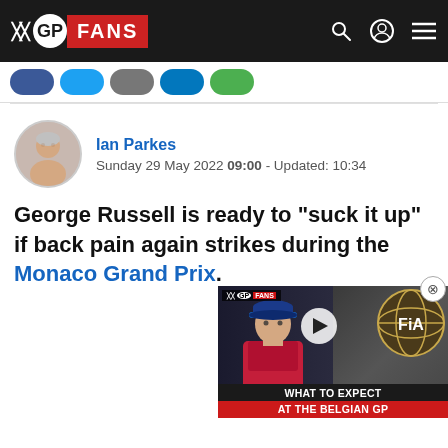GP FANS
Ian Parkes
Sunday 29 May 2022 09:00 - Updated: 10:34
George Russell is ready to "suck it up" if back pain again strikes during the Monaco Grand Prix.
[Figure (screenshot): Video thumbnail showing a racing driver with text 'WHAT TO EXPECT AT THE BELGIAN GP' and FIA logo, with a play button overlay. Header shows GP Fans logo.]